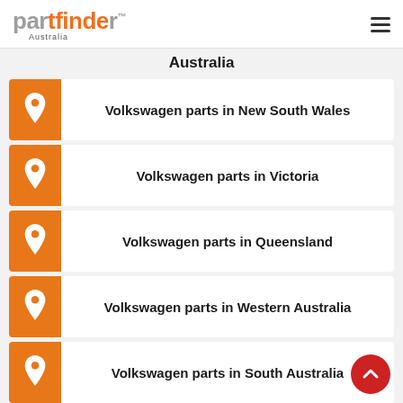partfinder Australia
Australia
Volkswagen parts in New South Wales
Volkswagen parts in Victoria
Volkswagen parts in Queensland
Volkswagen parts in Western Australia
Volkswagen parts in South Australia